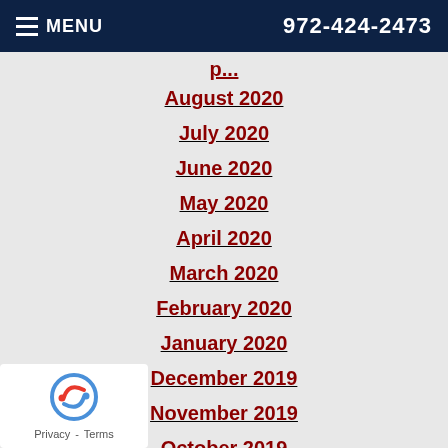MENU  972-424-2473
April (truncated)
August 2020
July 2020
June 2020
May 2020
April 2020
March 2020
February 2020
January 2020
December 2019
November 2019
October 2019